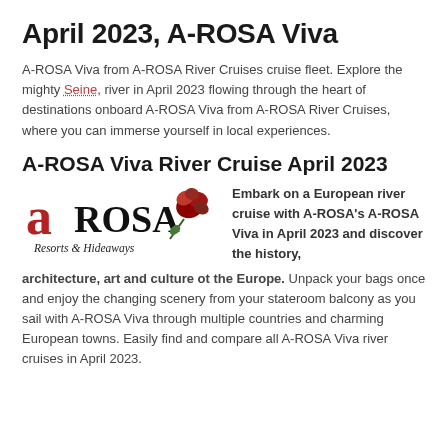April 2023, A-ROSA Viva
A-ROSA Viva from A-ROSA River Cruises cruise fleet. Explore the mighty Seine, river in April 2023 flowing through the heart of destinations onboard A-ROSA Viva from A-ROSA River Cruises, where you can immerse yourself in local experiences.
A-ROSA Viva River Cruise April 2023
[Figure (logo): A-ROSA Resorts & Hideaways logo with stylized lowercase 'a' in red and 'ROSA' in large black serif text, with a red rose graphic, and 'Resorts & Hideaways' tagline below]
Embark on a European river cruise with A-ROSA's A-ROSA Viva in April 2023 and discover the history, architecture, art and culture ot the Europe. Unpack your bags once and enjoy the changing scenery from your stateroom balcony as you sail with A-ROSA Viva through multiple countries and charming European towns. Easily find and compare all A-ROSA Viva river cruises in April 2023.